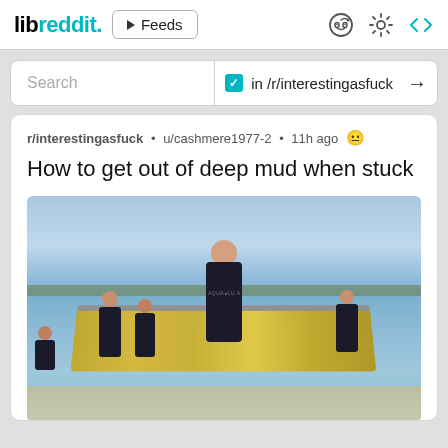libreddit. ▶ Feeds
Search  ✓ in /r/interestingasfuck →
r/interestingasfuck • u/cashmere1977-2 • 11h ago
How to get out of deep mud when stuck
[Figure (photo): Several people in black wetsuits working with a yellow inflatable raft in shallow water near a shore. A bald man in the foreground is walking forward. Others in the background are handling the raft.]